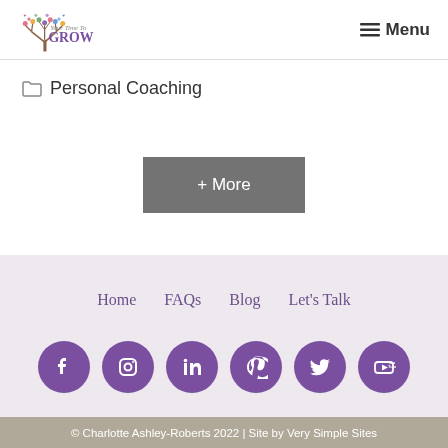Your Time To GROW | Menu
Personal Coaching
+ More
Home   FAQs   Blog   Let's Talk
[Figure (illustration): Six purple circular social media icons: Facebook, Instagram, LinkedIn, Pinterest, Twitter, YouTube]
© Charlotte Ashley-Roberts 2022 | Site by Very Simple Sites